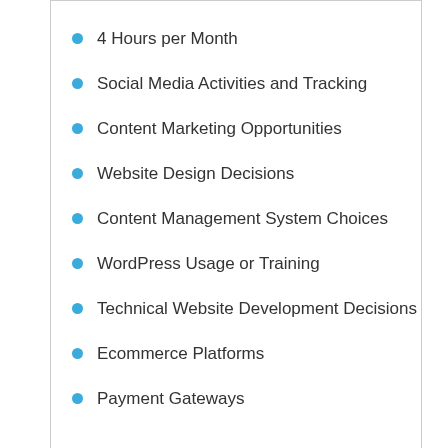4 Hours per Month
Social Media Activities and Tracking
Content Marketing Opportunities
Website Design Decisions
Content Management System Choices
WordPress Usage or Training
Technical Website Development Decisions
Ecommerce Platforms
Payment Gateways